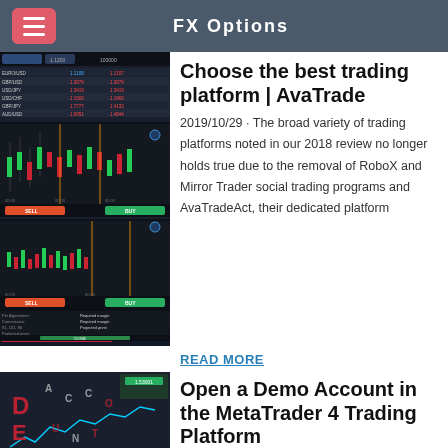FX Options
[Figure (screenshot): Trading platform screenshot showing charts and data tables on dark background]
Choose the best trading platform | AvaTrade
2019/10/29 · The broad variety of trading platforms noted in our 2018 review no longer holds true due to the removal of RoboX and Mirror Trader social trading programs and AvaTradeAct, their dedicated platform
READ MORE
[Figure (screenshot): Demo account screenshot showing chart with DEMO text overlay and 81% indicator]
Open a Demo Account in the MetaTrader 4 Trading Platform